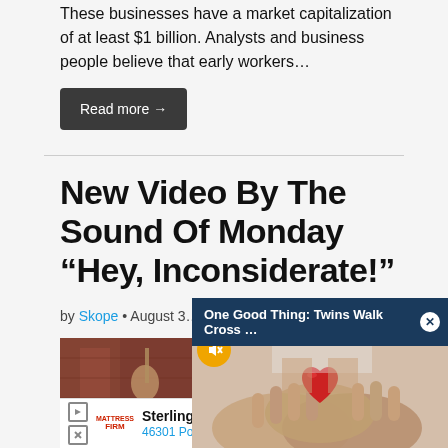These businesses have a market capitalization of at least $1 billion. Analysts and business people believe that early workers…
Read more →
New Video By The Sound Of Monday “Hey, Inconsiderate!”
by Skope • August 3…
[Figure (photo): Article thumbnail image showing a brick wall with some objects]
[Figure (screenshot): Notification bar overlay: One Good Thing: Twins Walk Cross ... with close button]
[Figure (photo): Video overlay showing hands holding a red heart, with mute button]
Sterling  46301 Poto
[Figure (logo): Mattress Firm logo]